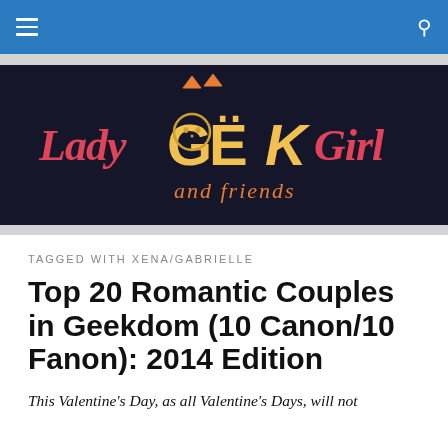Lady Geek Girl and Friends — navigation bar
[Figure (logo): Lady Geek Girl and Friends logo — stylized text with cat ears on dark navy background, pink cursive 'Lady' and 'Girl', golden/yellow block letters 'GEEK', orange 'and friends' below]
TAGGED WITH XENA/GABRIELLE
Top 20 Romantic Couples in Geekdom (10 Canon/10 Fanon): 2014 Edition
This Valentine's Day, as all Valentine's Days, will not